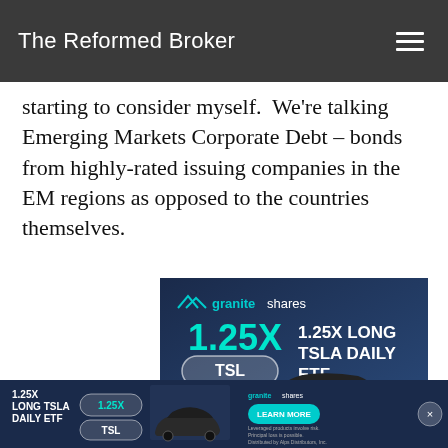The Reformed Broker
starting to consider myself.  We're talking Emerging Markets Corporate Debt – bonds from highly-rated issuing companies in the EM regions as opposed to the countries themselves.
[Figure (advertisement): GraniteShares advertisement: 1.25X LONG TSLA DAILY ETF with ticker TSL, showing a dark Tesla car against blue background with 'LEARN MORE' button]
[Figure (advertisement): GraniteShares bottom banner advertisement: 1.25X LONG TSLA DAILY ETF, 1.25X TSL, with LEARN MORE button and small print disclaimer]